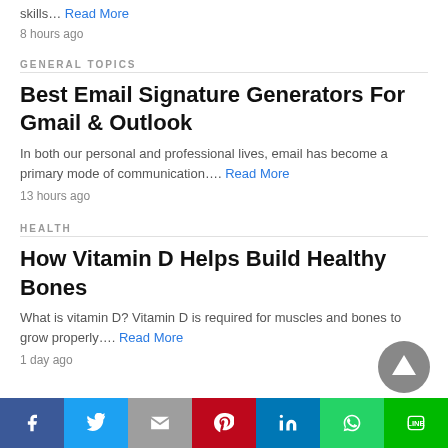skills… Read More
8 hours ago
GENERAL TOPICS
Best Email Signature Generators For Gmail & Outlook
In both our personal and professional lives, email has become a primary mode of communication…. Read More
13 hours ago
HEALTH
How Vitamin D Helps Build Healthy Bones
What is vitamin D? Vitamin D is required for muscles and bones to grow properly…. Read More
1 day ago
[Figure (other): Social sharing bar with Facebook, Twitter, Gmail, Pinterest, LinkedIn, WhatsApp, and LINE buttons]